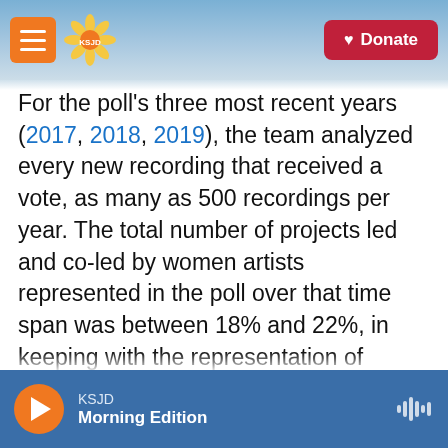KSJD [logo] Donate
For the poll's three most recent years (2017, 2018, 2019), the team analyzed every new recording that received a vote, as many as 500 recordings per year. The total number of projects led and co-led by women artists represented in the poll over that time span was between 18% and 22%, in keeping with the representation of women in multiyear analysis of the top 50. Although the number of women in the top 10 in 2019 was 50%, and higher than it had ever been before, the number of projects led or co-led by women overall actually declined slightly from 22% in 2018 to 21% in 2019.
KSJD Morning Edition